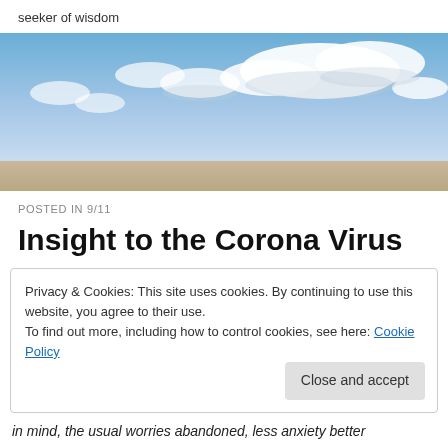seeker of wisdom
[Figure (photo): Landscape photo showing blue sky with white clouds in upper portion and a strip of sandy/earthy terrain at the bottom]
POSTED IN 9/11
Insight to the Corona Virus
Privacy & Cookies: This site uses cookies. By continuing to use this website, you agree to their use.
To find out more, including how to control cookies, see here: Cookie Policy
[Close and accept]
in mind, the usual worries abandoned, less anxiety better